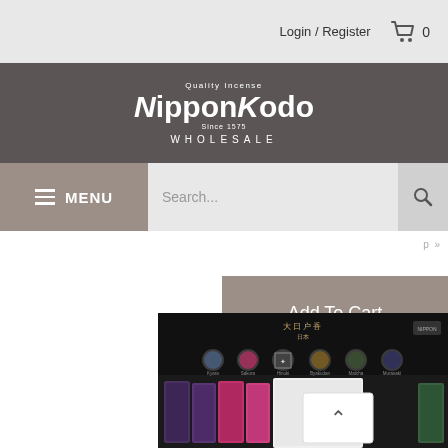Login / Register  🛒  0
[Figure (logo): Nippon Kodo Quality Incense Wholesale logo — white text on dark grey background]
MENU
Search...
Add To Cart
[Figure (photo): Nippon Kodo product display box with incense packets in multiple colors (dark purple, pink/magenta, white, green) arranged in a dark display stand with Japanese text and circular icons on the back panel]